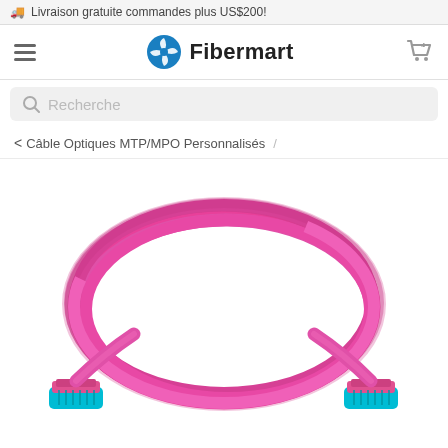🚚 Livraison gratuite commandes plus US$200!
[Figure (logo): Fibermart logo with blue pinwheel icon and bold text 'Fibermart']
Recherche
< Câble Optiques MTP/MPO Personnalisés /
[Figure (photo): Coiled pink/magenta fiber optic cable with teal MTP/MPO connectors at each end, coiled in a circular loop on white background]